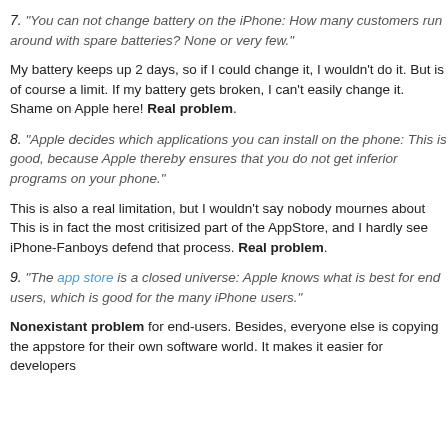7. "You can not change battery on the iPhone: How many customers run around with spare batteries? None or very few."
My battery keeps up 2 days, so if I could change it, I wouldn't do it. But is of course a limit. If my battery gets broken, I can't easily change it. Shame on Apple here! Real problem.
8. "Apple decides which applications you can install on the phone: This is good, because Apple thereby ensures that you do not get inferior programs on your phone."
This is also a real limitation, but I wouldn't say nobody mournes about it. This is in fact the most critisized part of the AppStore, and I hardly see iPhone-Fanboys defend that process. Real problem.
9. "The app store is a closed universe: Apple knows what is best for end-users, which is good for the many iPhone users."
Nonexistant problem for end-users. Besides, everyone else is copying the appstore for their own software world. It makes it easier for developers